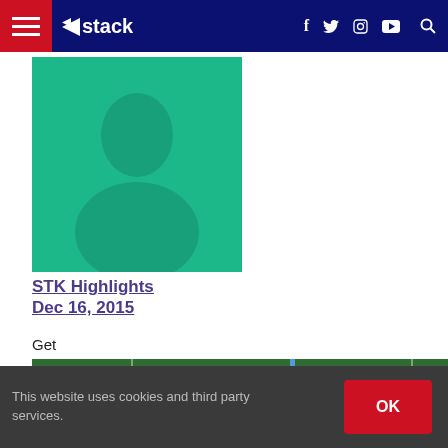Stack — navigation bar with hamburger menu, Stack logo, social icons (Facebook, Twitter, Instagram, YouTube), and search icon
[Figure (photo): Green placeholder profile avatar image showing a generic person silhouette in teal/green tones]
STK Highlights Dec 16, 2015
Get
[Figure (photo): Football game action photo showing players on a green field, partially cropped]
This website uses cookies and third party services.